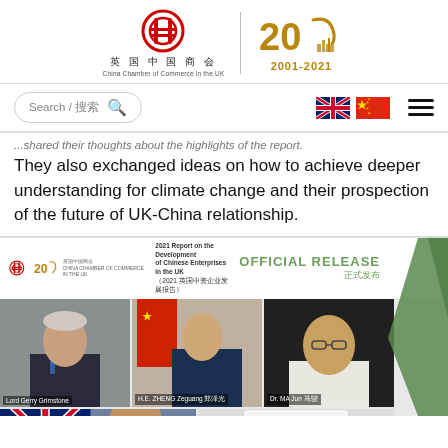[Figure (logo): China Chamber of Commerce in the UK logo with red circular emblem and Chinese characters 英国中国商会, paired with a 20th anniversary graphic showing '2001-2021' in gold]
[Figure (screenshot): Website navigation bar with search box reading 'Search / 搜索', UK flag, China flag, and hamburger menu icon]
...shared their thoughts about the highlights of the report. They also exchanged ideas on how to achieve deeper understanding for climate change and their prospection of the future of UK-China relationship.
[Figure (photo): Event photo section for the 2021 Report on the Development of Chinese Enterprises in the UK official release, showing portraits of Lord Gerry Grimstone, H.E. ZHENG Zeguang 郑泽光, Dr. MA Jun 马骏, and two more speakers below, with green geometric accent on the right]